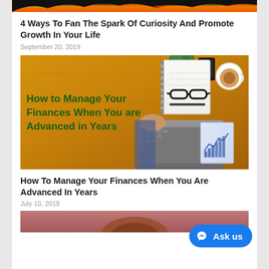[Figure (photo): Partial top image showing flames/fire against a dark background]
4 Ways To Fan The Spark Of Curiosity And Promote Growth In Your Life
September 20, 2019
[Figure (photo): Overhead shot of wooden desk with text overlay 'How to Manage Your Finances When You are Advanced in Years', showing notebook, glasses, pen, tablet, coffee cup, laptop, and financial paper with charts]
How To Manage Your Finances When You Are Advanced In Years
July 10, 2019
[Figure (photo): Partial bottom image showing top of a person's head with reddish-brown hair]